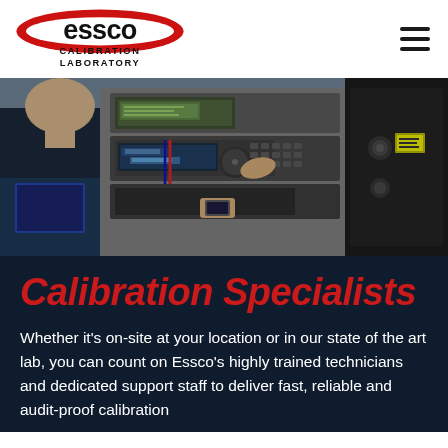[Figure (logo): Essco Calibration Laboratory logo with red ellipse and black text]
[Figure (photo): Technician operating calibration laboratory equipment, pressing buttons on measurement instruments, with racks of electronic test equipment in the background]
Calibration Specialists
Whether it's on-site at your location or in our state of the art lab, you can count on Essco's highly trained technicians and dedicated support staff to deliver fast, reliable and audit-proof calibration